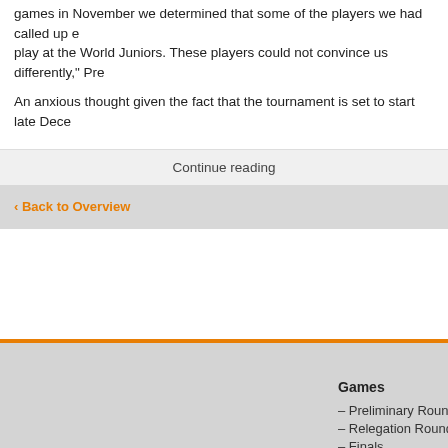games in November we determined that some of the players we had called up could not play at the World Juniors. These players could not convince us differently," Pre...
An anxious thought given the fact that the tournament is set to start late Dece...
Continue reading
‹ Back to Overview
Games
– Preliminary Round
– Relegation Round
– Finals
News
– Tournament News
Media
– Videos
– Photos
Stati...
– Sta...
– Tea...
– Ga...
– Pla...